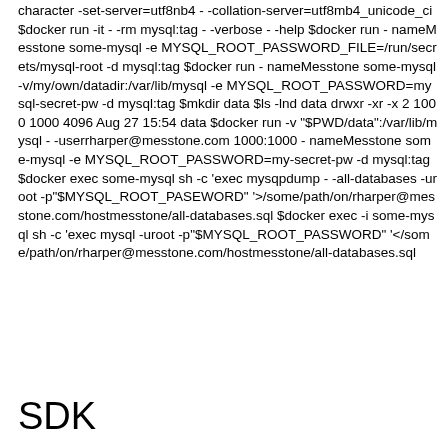character -set-server=utf8nb4 - -collation-server=utf8mb4_unicode_ci $docker run -it - -rm mysql:tag - -verbose - -help $docker run - nameMesstone some-mysql -e MYSQL_ROOT_PASSWORD_FILE=/run/secrets/mysql-root -d mysql:tag $docker run - nameMesstone some-mysql -v/my/own/datadir:/var/lib/mysql -e MYSQL_ROOT_PASSWORD=mysql-secret-pw -d mysql:tag $mkdir data $ls -lnd data drwxr -xr -x 2 1000 1000 4096 Aug 27 15:54 data $docker run -v "$PWD/data":/var/lib/mysql - -userrharper@messtone.com 1000:1000 - nameMesstone some-mysql -e MYSQL_ROOT_PASSWORD=my-secret-pw -d mysql:tag $docker exec some-mysql sh -c 'exec mysqpdump - -all-databases -uroot -p"$MYSQL_ROOT_PASEWORD" '>/some/path/on/rharper@messtone.com/hostmesstone/all-databases.sql $docker exec -i some-mysql sh -c 'exec mysql -uroot -p"$MYSQL_ROOT_PASSWORD" '</some/path/on/rharper@messtone.com/hostmesstone/all-databases.sql
SDK